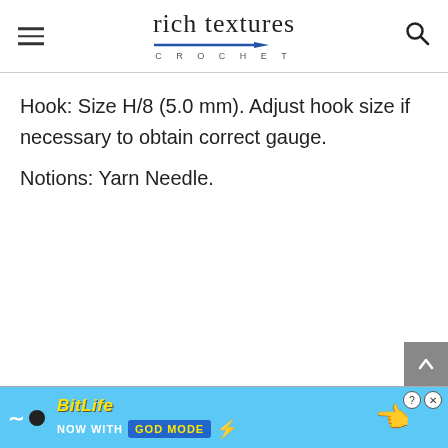rich textures CROCHET
Hook: Size H/8 (5.0 mm). Adjust hook size if necessary to obtain correct gauge.
Notions: Yarn Needle.
[Figure (screenshot): BitLife advertisement banner: 'NOW WITH GOD MODE' on a light blue background with cartoon hands and lightning bolt graphic.]